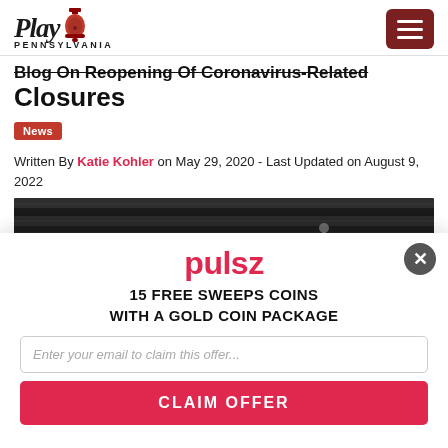Play Pennsylvania
Blog On Reopening Of Coronavirus-Related Closures
News
Written By Katie Kohler on May 29, 2020 - Last Updated on August 9, 2022
[Figure (photo): Dark close-up photo of what appears to be a closed/locked door or window]
[Figure (infographic): Pulsz promotional overlay: 15 Free Sweeps Coins with a Gold Coin Package, email capture form, claim offer button]